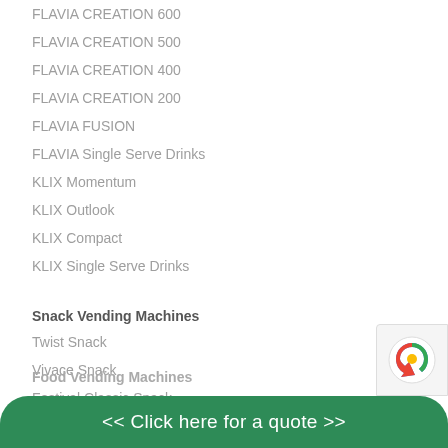FLAVIA CREATION 600
FLAVIA CREATION 500
FLAVIA CREATION 400
FLAVIA CREATION 200
FLAVIA FUSION
FLAVIA Single Serve Drinks
KLIX Momentum
KLIX Outlook
KLIX Compact
KLIX Single Serve Drinks
Snack Vending Machines
Twist Snack
Vivace Snack
Festival Classic Snack
Swing Snack
Food Vending Machines
<< Click here for a quote >>